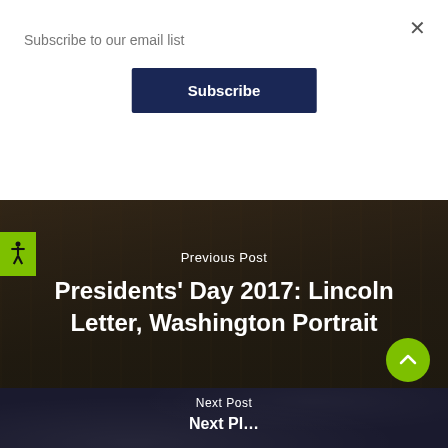Subscribe to our email list
×
Subscribe
Previous Post
Presidents' Day 2017: Lincoln Letter, Washington Portrait
Next Post